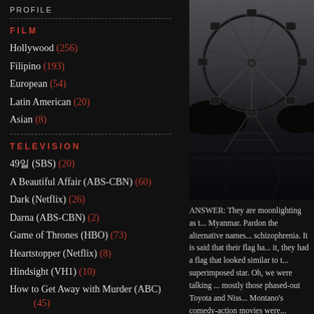PROFILE
FILM
Hollywood (256)
Filipino (193)
European (54)
Latin American (20)
Asian (8)
TELEVISION
49일 (SBS) (20)
A Beautiful Affair (ABS-CBN) (60)
Dark (Netflix) (26)
Darna (ABS-CBN) (2)
Game of Thrones (HBO) (73)
Heartstopper (Netflix) (8)
Hindsight (VH1) (10)
How to Get Away with Murder (ABC) (45)
[Figure (photo): A Ferris wheel silhouetted against a grey sky, reflected in water below, with dark trees in background]
ANSWER: They are moonlighting as t... Myanmar. Pardon the alternative names... schizophrenia. It is said that their flag ha... it, they had a flag that looked similar to t... superimposed star. Oh, we were talking ... mostly those phased-out Toyota and Niss... Montano's comedy-action movies were... Exactly my point!